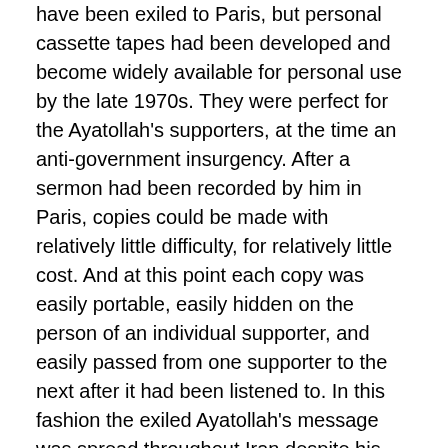have been exiled to Paris, but personal cassette tapes had been developed and become widely available for personal use by the late 1970s. They were perfect for the Ayatollah's supporters, at the time an anti-government insurgency. After a sermon had been recorded by him in Paris, copies could be made with relatively little difficulty, for relatively little cost. And at this point each copy was easily portable, easily hidden on the person of an individual supporter, and easily passed from one supporter to the next after it had been listened to. In this fashion the exiled Ayatollah's message was spread throughout Iran despite his lack of access to traditional media within the country, a smart use of technology in those pre-Internet days.3 Today, al-Qaeda and its affiliated groups have found ways to use online videosharing sites such as YouTube, Liveleak, and Google Earth to provide precise targeting and mapping for operations, continue to explore aggressively the potential of such new applications as